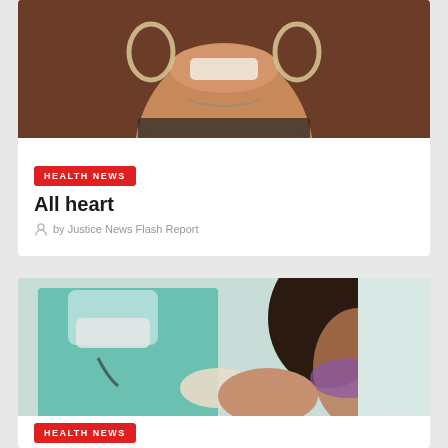[Figure (photo): Cropped photo of a smiling woman with large hoop earrings, wearing a black top, brown background]
HEALTH NEWS
All heart
by Justice News Flash Report
[Figure (photo): Healthcare worker in teal scrubs, gloves, face shield and mask administering a vaccine or injection to a dark-haired woman wearing a purple mask]
HEALTH NEWS